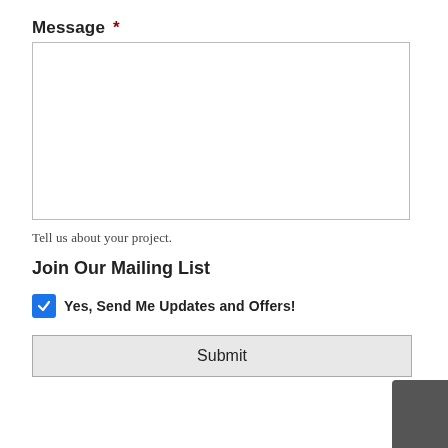Message *
[Figure (other): Empty textarea input box with light gray border]
Tell us about your project.
Join Our Mailing List
Yes, Send Me Updates and Offers!
Submit